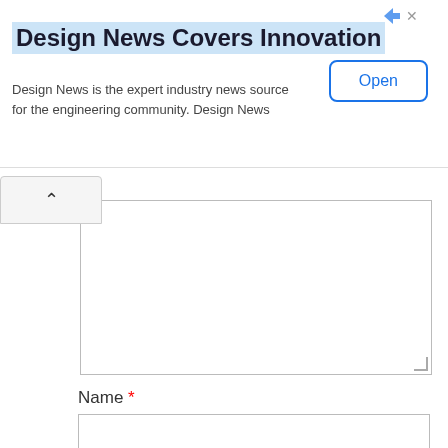[Figure (screenshot): Advertisement banner: Design News Covers Innovation with Open button]
Name *
Email *
Website